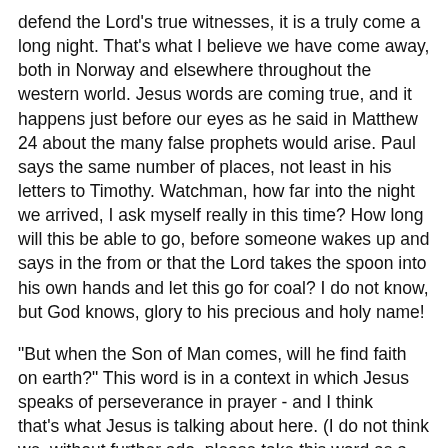defend the Lord's true witnesses, it is a truly come a long night. That's what I believe we have come away, both in Norway and elsewhere throughout the western world. Jesus words are coming true, and it happens just before our eyes as he said in Matthew 24 about the many false prophets would arise. Paul says the same number of places, not least in his letters to Timothy. Watchman, how far into the night we arrived, I ask myself really in this time? How long will this be able to go, before someone wakes up and says in the from or that the Lord takes the spoon into his own hands and let this go for coal? I do not know, but God knows, glory to his precious and holy name!
"But when the Son of Man comes, will he find faith on earth?" This word is in a context in which Jesus speaks of perseverance in prayer - and I think that's what Jesus is talking about here. (I do not think we, without further ado, please take this word as a prophecy about the general belief level on earth until his Second Coming, as it often is interpreted as.) What is it, then Jesus would emphasize this, a little mysterious word ? As I understand it, Jesus will say this: It's always to pray, even